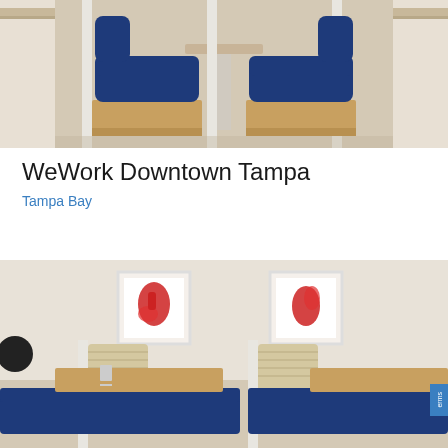[Figure (photo): Interior of WeWork coworking space showing two navy blue upholstered armchairs with wooden bases and a small round pedestal table between them, against a light wall with wooden shelving.]
WeWork Downtown Tampa
Tampa Bay
[Figure (photo): Interior of WeWork coworking space showing booth-style seating with navy blue upholstered benches and wooden tables, with two framed red abstract artworks on the white wall above. White metal partition posts visible.]